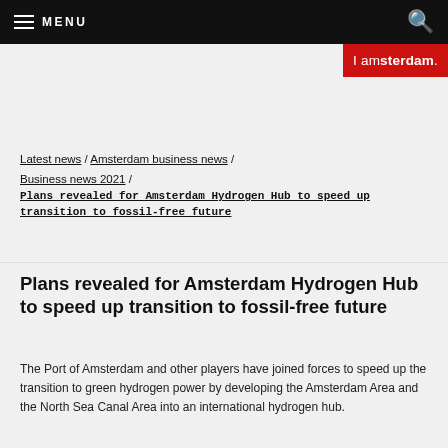≡ MENU
[Figure (logo): I amsterdam red logo in top right corner]
Latest news / Amsterdam business news / Business news 2021 / Plans revealed for Amsterdam Hydrogen Hub to speed up transition to fossil-free future
Plans revealed for Amsterdam Hydrogen Hub to speed up transition to fossil-free future
The Port of Amsterdam and other players have joined forces to speed up the transition to green hydrogen power by developing the Amsterdam Area and the North Sea Canal Area into an international hydrogen hub.